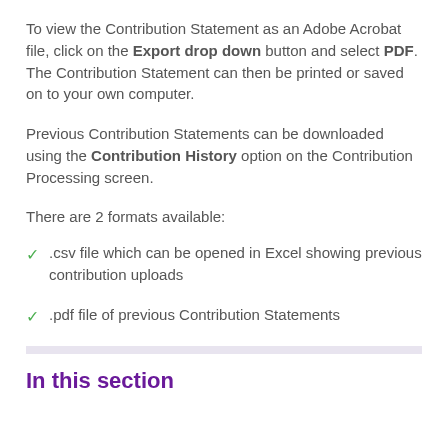To view the Contribution Statement as an Adobe Acrobat file, click on the Export drop down button and select PDF. The Contribution Statement can then be printed or saved on to your own computer.
Previous Contribution Statements can be downloaded using the Contribution History option on the Contribution Processing screen.
There are 2 formats available:
.csv file which can be opened in Excel showing previous contribution uploads
.pdf file of previous Contribution Statements
In this section